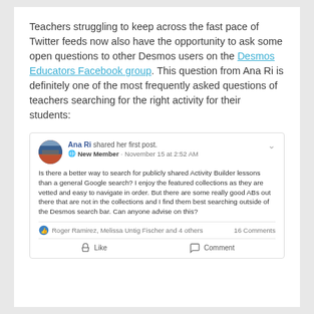Teachers struggling to keep across the fast pace of Twitter feeds now also have the opportunity to ask some open questions to other Desmos users on the Desmos Educators Facebook group. This question from Ana Ri is definitely one of the most frequently asked questions of teachers searching for the right activity for their students:
[Figure (screenshot): Facebook post screenshot: Ana Ri shared her first post. New Member · November 15 at 2:52 AM. Post text: Is there a better way to search for publicly shared Activity Builder lessons than a general Google search? I enjoy the featured collections as they are vetted and easy to navigate in order. But there are some really good ABs out there that are not in the collections and I find them best searching outside of the Desmos search bar. Can anyone advise on this? Reactions: Roger Ramirez, Melissa Untig Fischer and 4 others · 16 Comments. Buttons: Like, Comment.]